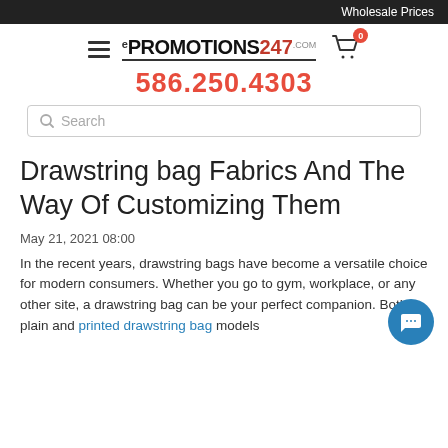Wholesale Prices
[Figure (logo): ePromotions247.com logo with hamburger menu and shopping cart icon showing 0 items]
586.250.4303
[Figure (other): Search bar with magnifying glass icon and placeholder text 'Search']
Drawstring bag Fabrics And The Way Of Customizing Them
May 21, 2021 08:00
In the recent years, drawstring bags have become a versatile choice for modern consumers. Whether you go to gym, workplace, or any other site, a drawstring bag can be your perfect companion. Both plain and printed drawstring bag models